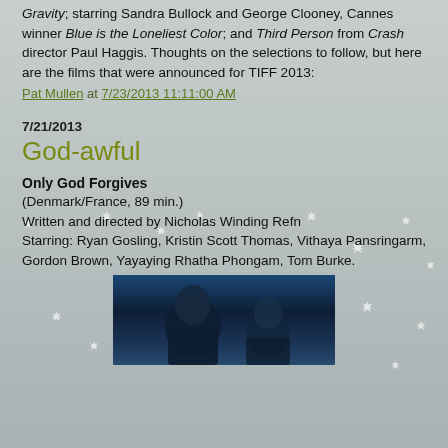Gravity, starring Sandra Bullock and George Clooney, Cannes winner Blue is the Loneliest Color; and Third Person from Crash director Paul Haggis. Thoughts on the selections to follow, but here are the films that were announced for TIFF 2013:
Pat Mullen at 7/23/2013 11:11:00 AM
7/21/2013
God-awful
Only God Forgives
(Denmark/France, 89 min.)
Written and directed by Nicholas Winding Refn
Starring: Ryan Gosling, Kristin Scott Thomas, Vithaya Pansringarm, Gordon Brown, Yayaying Rhatha Phongam, Tom Burke.
[Figure (photo): Blue-tinted still from the film Only God Forgives showing figures in a dark blue scene]